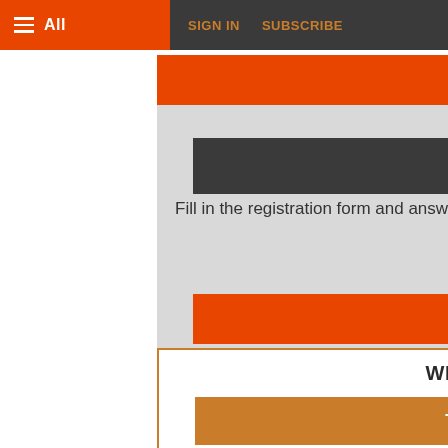≡ All   SIGN IN   SUBSCRIBE
Sign in
SUBSCRIBE
Fill in the registration form and answer a few simple questions to receive a quote.
Subscribe now
WHY SUBSCRIBE?
TDM JOURNAL